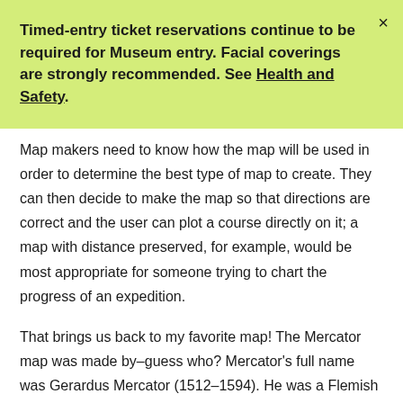Timed-entry ticket reservations continue to be required for Museum entry. Facial coverings are strongly recommended. See Health and Safety.
Map makers need to know how the map will be used in order to determine the best type of map to create. They can then decide to make the map so that directions are correct and the user can plot a course directly on it; a map with distance preserved, for example, would be most appropriate for someone trying to chart the progress of an expedition.
That brings us back to my favorite map! The Mercator map was made by–guess who? Mercator's full name was Gerardus Mercator (1512–1594). He was a Flemish cartographer and...